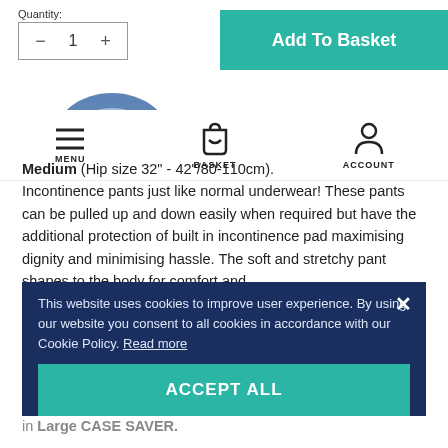Quantity:
− 1 +
Add To Basket
[Figure (screenshot): Navigation bar with MENU (hamburger icon), BASKET (shopping bag icon), ACCOUNT (person icon)]
Medium (Hip size 32" - 42"/80-110cm). Incontinence pants just like normal underwear! These pants can be pulled up and down easily when required but have the additional protection of built in incontinence pad maximising dignity and minimising hassle. The soft and stretchy pant shapes to the body for comfort and security and when necessary they can be easily removed and should be hygienically disposed of. TENA Pants provide outstanding dryness through Feelry (TM) technology which rapidly absorbs even large quantities of urine into the product core and quickly away from the skin. Also available in single packs in Medium and Large sizes and in Large CASE SAVER. Manufacturer Code: 794560
This website uses cookies to improve user experience. By using our website you consent to all cookies in accordance with our Cookie Policy. Read more
ACCEPT ALL